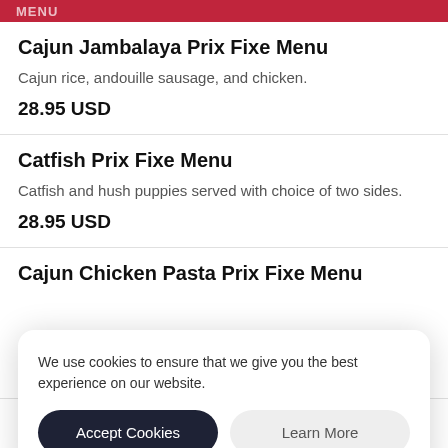MENU
Cajun Jambalaya Prix Fixe Menu
Cajun rice, andouille sausage, and chicken.
28.95 USD
Catfish Prix Fixe Menu
Catfish and hush puppies served with choice of two sides.
28.95 USD
Cajun Chicken Pasta Prix Fixe Menu
We use cookies to ensure that we give you the best experience on our website.
Shrimp Creole Prix Fixe Menu